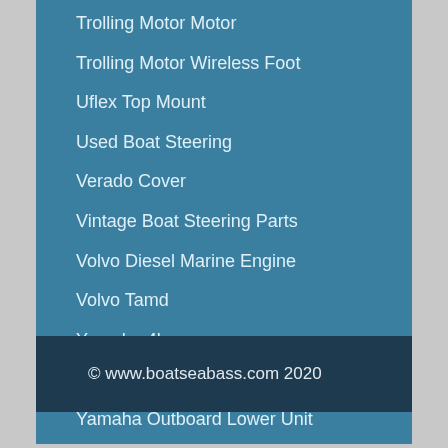Trolling Motor Motor
Trolling Motor Wireless Foot
Uflex Top Mount
Used Boat Steering
Verado Cover
Vintage Boat Steering Parts
Volvo Diesel Marine Engine
Volvo Tamd
Yamaha 4hp
Yamaha Lower Unit 30
Yamaha Outboard Lower Unit
© www.boatseabass.com 2020